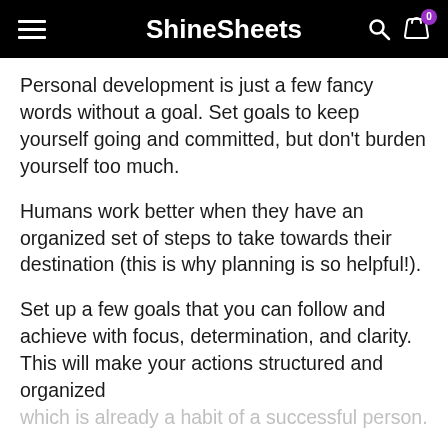ShineSheets
Personal development is just a few fancy words without a goal. Set goals to keep yourself going and committed, but don't burden yourself too much.
Humans work better when they have an organized set of steps to take towards their destination (this is why planning is so helpful!).
Set up a few goals that you can follow and achieve with focus, determination, and clarity. This will make your actions structured and organized which is already a habit of a successful person.